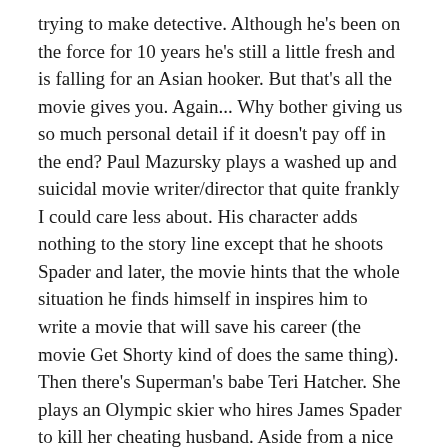trying to make detective. Although he's been on the force for 10 years he's still a little fresh and is falling for an Asian hooker. But that's all the movie gives you. Again... Why bother giving us so much personal detail if it doesn't pay off in the end? Paul Mazursky plays a washed up and suicidal movie writer/director that quite frankly I could care less about. His character adds nothing to the story line except that he shoots Spader and later, the movie hints that the whole situation he finds himself in inspires him to write a movie that will save his career (the movie Get Shorty kind of does the same thing). Then there's Superman's babe Teri Hatcher. She plays an Olympic skier who hires James Spader to kill her cheating husband. Aside from a nice ass shot and a good cat fight we get very little of Hatcher in this movie.
So who does this movie focus on. Danny Aiello's